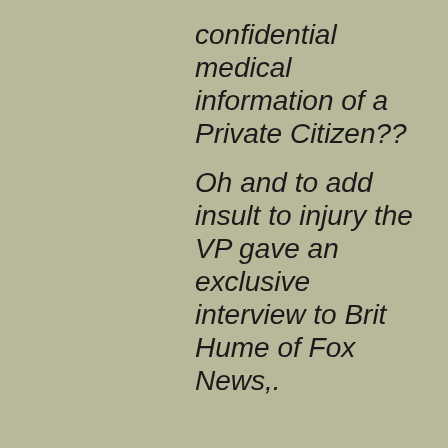confidential medical information of a Private Citizen??

Oh and to add insult to injury the VP gave an exclusive interview to Brit Hume of Fox News,.